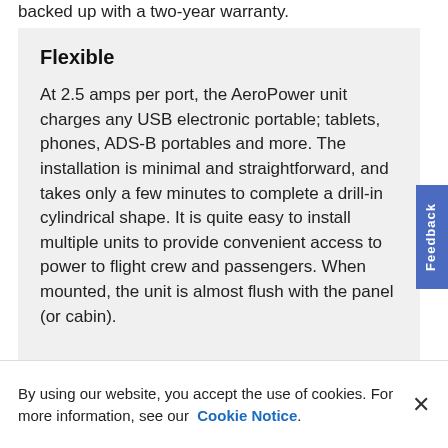backed up with a two-year warranty.
Flexible
At 2.5 amps per port, the AeroPower unit charges any USB electronic portable; tablets, phones, ADS-B portables and more. The installation is minimal and straightforward, and takes only a few minutes to complete a drill-in cylindrical shape. It is quite easy to install multiple units to provide convenient access to power to flight crew and passengers. When mounted, the unit is almost flush with the panel (or cabin).
By using our website, you accept the use of cookies. For more information, see our Cookie Notice.